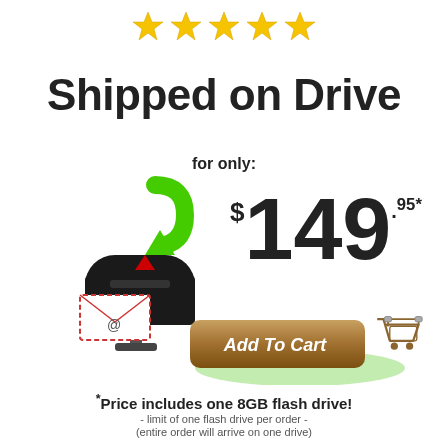[Figure (illustration): Five gold stars rating]
Shipped on Drive
for only:
[Figure (illustration): Black mailbox with green arrow and envelope]
$149.95*
[Figure (illustration): Add To Cart button with shopping cart icon]
*Price includes one 8GB flash drive! - limit of one flash drive per order - (entire order will arrive on one drive)